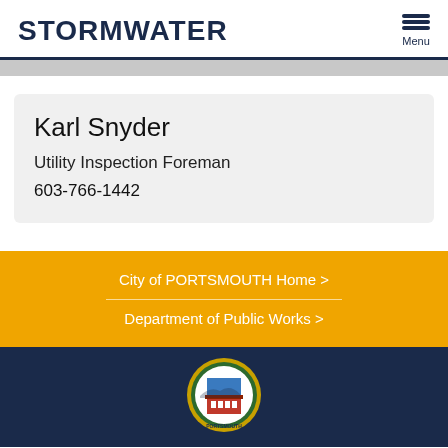STORMWATER
Karl Snyder
Utility Inspection Foreman
603-766-1442
City of PORTSMOUTH Home >
Department of Public Works >
[Figure (logo): City of Portsmouth seal/logo at the bottom of the page on dark navy background]